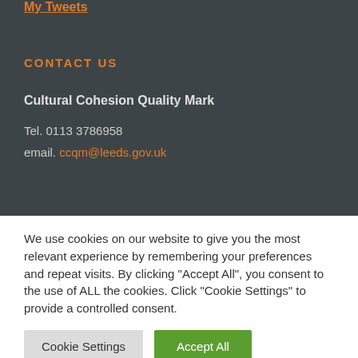My Tweets
CONTACT US
Cultural Cohesion Quality Mark
Tel. 0113 3786958
email. ccqm@leeds.gov.uk
We use cookies on our website to give you the most relevant experience by remembering your preferences and repeat visits. By clicking "Accept All", you consent to the use of ALL the cookies. Click "Cookie Settings" to provide a controlled consent.
Cookie Settings
Accept All